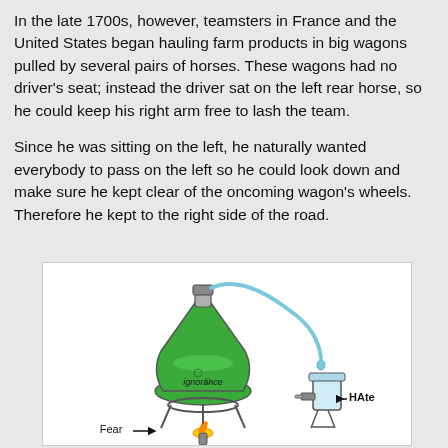In the late 1700s, however, teamsters in France and the United States began hauling farm products in big wagons pulled by several pairs of horses. These wagons had no driver's seat; instead the driver sat on the left rear horse, so he could keep his right arm free to lash the team.
Since he was sitting on the left, he naturally wanted everybody to pass on the left so he could look down and make sure he kept clear of the oncoming wagon's wheels. Therefore he kept to the right side of the road.
[Figure (illustration): A cartoon illustration of a chemistry distillation setup. A flask labeled 'ignorance' sits on a stand over a flame labeled 'Fear' with an arrow pointing right. A tube leads from the flask to a smaller vessel on the right labeled 'Hate' with an arrow pointing left. A drop falls from the tube.]